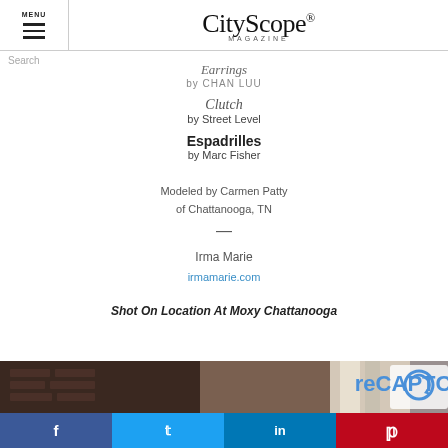CityScope Magazine
Earrings by CHAN LUU
Clutch by Street Level
Espadrilles by Marc Fisher
Modeled by Carmen Patty of Chattanooga, TN
Irma Marie
irmamarie.com
Shot On Location At Moxy Chattanooga
[Figure (photo): Bottom strip showing location photo — brick wall and fabric]
f  t  in  P (social share buttons)